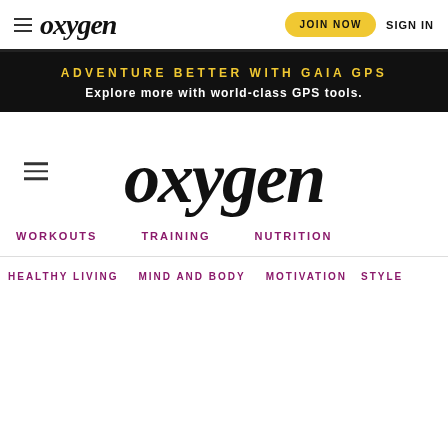oxygen — JOIN NOW  SIGN IN
[Figure (screenshot): Black banner advertisement for Gaia GPS with yellow text 'ADVENTURE BETTER WITH GAIA GPS' and white text 'Explore more with world-class GPS tools.']
oxygen
WORKOUTS
TRAINING
NUTRITION
HEALTHY LIVING
MIND AND BODY
MOTIVATION
STYLE